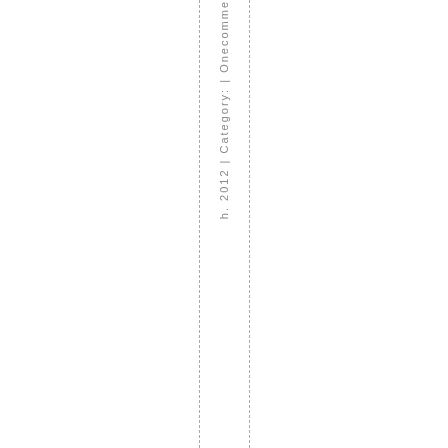h. 2012 | Category: | Onecomme